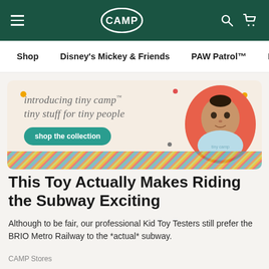CAMP (logo) — navigation header with hamburger menu, search, and cart icons
Shop   Disney's Mickey & Friends   PAW Patrol™   Expe
[Figure (illustration): Promotional banner for 'tiny camp' — introducing tiny camp™ tiny stuff for tiny people — with a shop the collection button and a baby photo in an orange circle, colorful diagonal stripes at the bottom, and decorative dots]
This Toy Actually Makes Riding the Subway Exciting
Although to be fair, our professional Kid Toy Testers still prefer the BRIO Metro Railway to the *actual* subway.
CAMP Stores